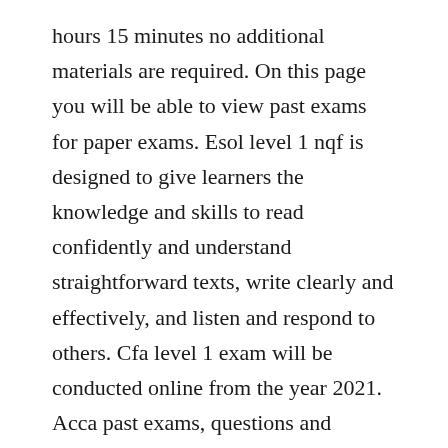hours 15 minutes no additional materials are required. On this page you will be able to view past exams for paper exams. Esol level 1 nqf is designed to give learners the knowledge and skills to read confidently and understand straightforward texts, write clearly and effectively, and listen and respond to others. Cfa level 1 exam will be conducted online from the year 2021. Acca past exams, questions and answers, download pdf.
These four carefully crafted exams will introduce you to the format youll face and